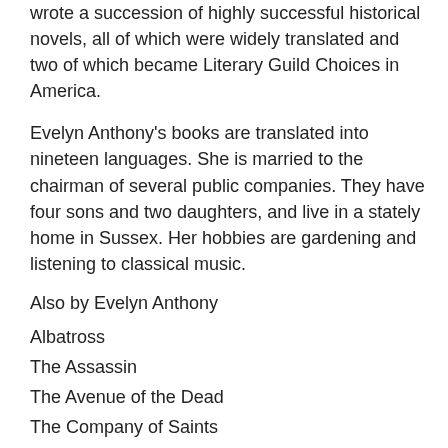wrote a succession of highly successful historical novels, all of which were widely translated and two of which became Literary Guild Choices in America.
Evelyn Anthony's books are translated into nineteen languages. She is married to the chairman of several public companies. They have four sons and two daughters, and live in a stately home in Sussex. Her hobbies are gardening and listening to classical music.
Also by Evelyn Anthony
Albatross
The Assassin
The Avenue of the Dead
The Company of Saints
The Grave of Truth
The Legend
Malasfuga